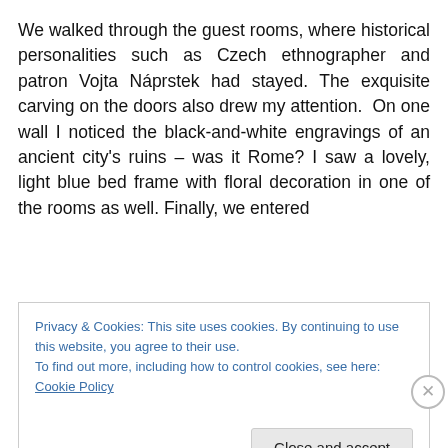We walked through the guest rooms, where historical personalities such as Czech ethnographer and patron Vojta Náprstek had stayed. The exquisite carving on the doors also drew my attention.  On one wall I noticed the black-and-white engravings of an ancient city's ruins – was it Rome? I saw a lovely, light blue bed frame with floral decoration in one of the rooms as well. Finally, we entered
Privacy & Cookies: This site uses cookies. By continuing to use this website, you agree to their use.
To find out more, including how to control cookies, see here: Cookie Policy
Close and accept